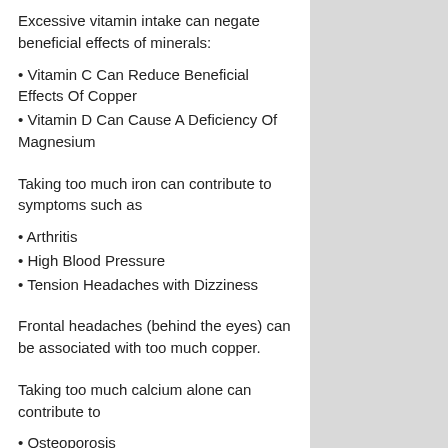Excessive vitamin intake can negate beneficial effects of minerals:
• Vitamin C Can Reduce Beneficial Effects Of Copper
• Vitamin D Can Cause A Deficiency Of Magnesium
Taking too much iron can contribute to symptoms such as
• Arthritis
• High Blood Pressure
• Tension Headaches with Dizziness
Frontal headaches (behind the eyes) can be associated with too much copper.
Taking too much calcium alone can contribute to
• Osteoporosis
• Weight Gain
• Fatigue